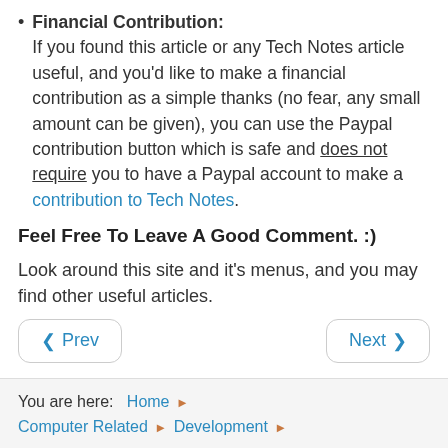Financial Contribution: If you found this article or any Tech Notes article useful, and you'd like to make a financial contribution as a simple thanks (no fear, any small amount can be given), you can use the Paypal contribution button which is safe and does not require you to have a Paypal account to make a contribution to Tech Notes.
Feel Free To Leave A Good Comment. :)
Look around this site and it's menus, and you may find other useful articles.
You are here: Home > Computer Related > Development >